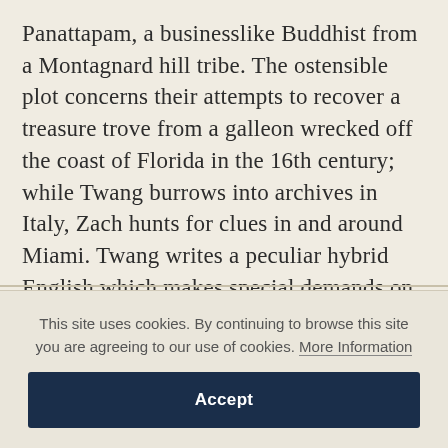Panattapam, a businesslike Buddhist from a Montagnard hill tribe. The ostensible plot concerns their attempts to recover a treasure trove from a galleon wrecked off the coast of Florida in the 16th century; while Twang burrows into archives in Italy, Zach hunts for clues in and around Miami. Twang writes a peculiar hybrid English which makes special demands on her correspondent, and on the reader: ‘To raed this has need, not idees but a tenshn (to-trans-late of Twang),’ as she explains in her first epistle.
This site uses cookies. By continuing to browse this site you are agreeing to our use of cookies. More Information
Accept